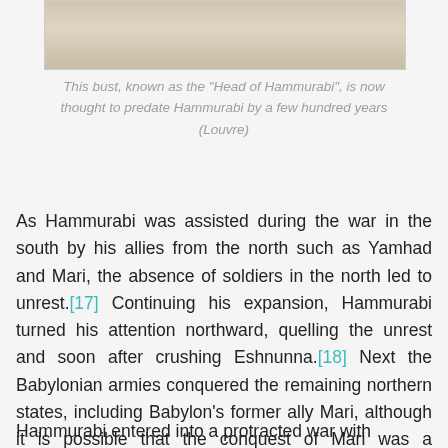[Figure (photo): Bottom portion of a bust sculpture, cropped, showing the base of the Head of Hammurabi artifact on a light background]
This bust, known as the "Head of Hammurabi", is now thought to predate Hammurabi by a few hundred years (Louvre)
As Hammurabi was assisted during the war in the south by his allies from the north such as Yamhad and Mari, the absence of soldiers in the north led to unrest.[17] Continuing his expansion, Hammurabi turned his attention northward, quelling the unrest and soon after crushing Eshnunna.[18] Next the Babylonian armies conquered the remaining northern states, including Babylon's former ally Mari, although it is possible that the conquest of Mari was a surrender without any actual conflict.[19]
Hammurabi entered into a protracted war with